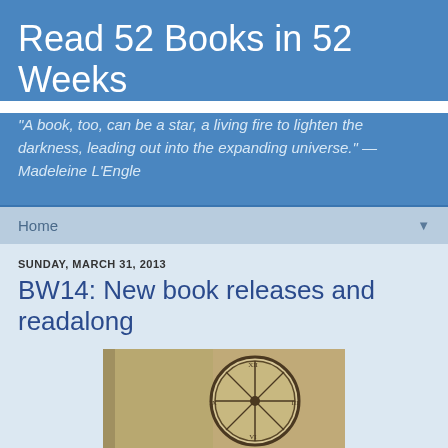Read 52 Books in 52 Weeks
"A book, too, can be a star, a living fire to lighten the darkness, leading out into the expanding universe." — Madeleine L'Engle
Home
SUNDAY, MARCH 31, 2013
BW14: New book releases and readalong
[Figure (photo): A sepia-toned photo of a large round metal clock with Roman numerals on a wall]